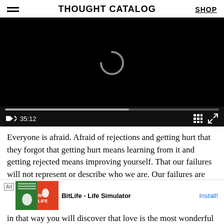THOUGHT CATALOG  SHOP
[Figure (screenshot): Video player with black background, loading spinner icon (C shape), progress bar showing partial playback, controls showing mute icon, timestamp 35:12, grid icon, and fullscreen icon.]
Everyone is afraid. Afraid of rejections and getting hurt that they forgot that getting hurt means learning from it and getting rejected means improving yourself. That our failures will not represent or describe who we are. Our failures are the reason why we are strong enough.
Don't be afraid to let your heart be broken by everyone, it is in that way you will discover that love is the most wonderful thing that one can have while you're living your life here in this world.
[Figure (screenshot): Advertisement banner for BitLife - Life Simulator app with Ad label, game icon, and Install button.]